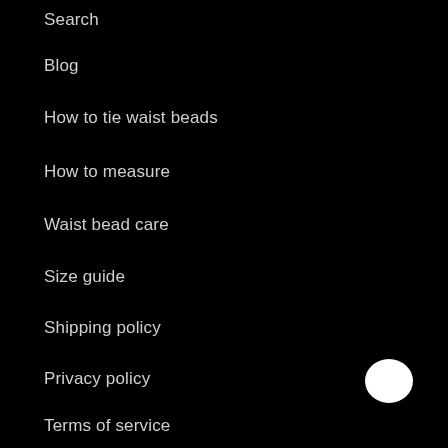Search
Blog
How to tie waist beads
How to measure
Waist bead care
Size guide
Shipping policy
Privacy policy
Terms of service
[Figure (illustration): White chat bubble icon in bottom right corner]